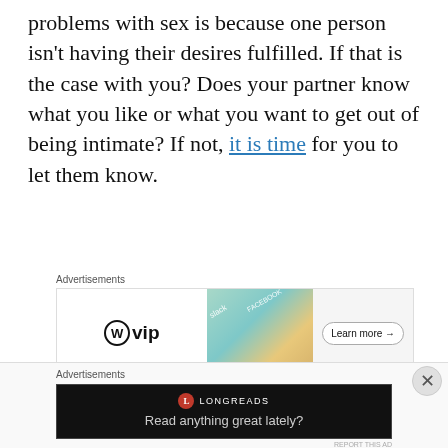problems with sex is because one person isn't having their desires fulfilled. If that is the case with you? Does your partner know what you like or what you want to get out of being intimate? If not, it is time for you to let them know.
[Figure (other): Advertisement banner for WordPress VIP showing WP logo, colorful app cards (Slack, Facebook), and a 'Learn more →' button]
[Figure (other): Advertisement banner for Longreads (black background) with Longreads logo and tagline 'Read anything great lately?']